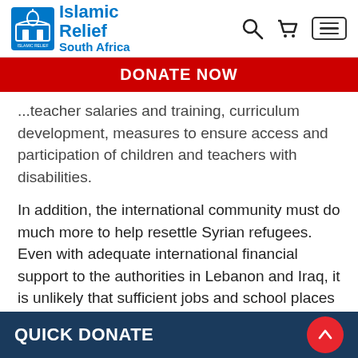Islamic Relief South Africa
DONATE NOW
...teacher salaries and training, curriculum development, measures to ensure access and participation of children and teachers with disabilities.
In addition, the international community must do much more to help resettle Syrian refugees. Even with adequate international financial support to the authorities in Lebanon and Iraq, it is unlikely that sufficient jobs and school places for children can be created. Thus it will
QUICK DONATE